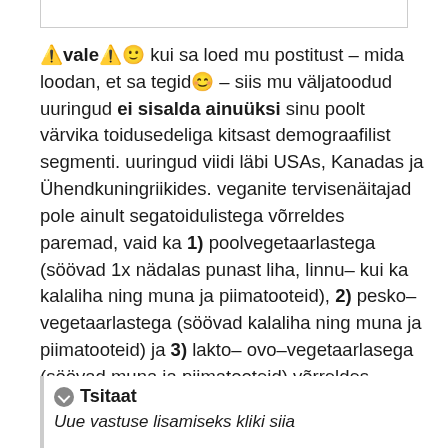⚠vale⚠🙂 kui sa loed mu postitust – mida loodan, et sa tegid😊 – siis mu väljatoodud uuringud ei sisalda ainuüksi sinu poolt värvika toidusedeliga kitsast demograafilist segmenti. uuringud viidi läbi USAs, Kanadas ja Ühendkuningriikides. veganite tervisenäitajad pole ainult segatoidulistega võrreldes paremad, vaid ka 1) poolvegetaarlastega (söövad 1x nädalas punast liha, linnu– kui ka kalaliha ning muna ja piimatooteid), 2) pesko–vegetaarlastega (söövad kalaliha ning muna ja piimatooteid) ja 3) lakto–ovo–vegetaarlasega (söövad muna ja piimatooteid) võrreldes.
Tsitaat